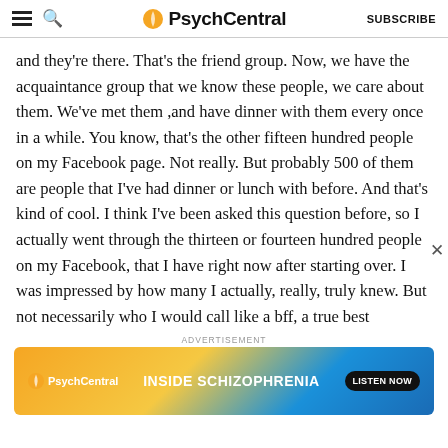PsychCentral | SUBSCRIBE
and they're there. That's the friend group. Now, we have the acquaintance group that we know these people, we care about them. We've met them ,and have dinner with them every once in a while. You know, that's the other fifteen hundred people on my Facebook page. Not really. But probably 500 of them are people that I've had dinner or lunch with before. And that's kind of cool. I think I've been asked this question before, so I actually went through the thirteen or fourteen hundred people on my Facebook, that I have right now after starting over. I was impressed by how many I actually, really, truly knew. But not necessarily who I would call like a bff, a true best
ADVERTISEMENT
[Figure (other): PsychCentral advertisement banner for 'Inside Schizophrenia' podcast with LISTEN NOW button]